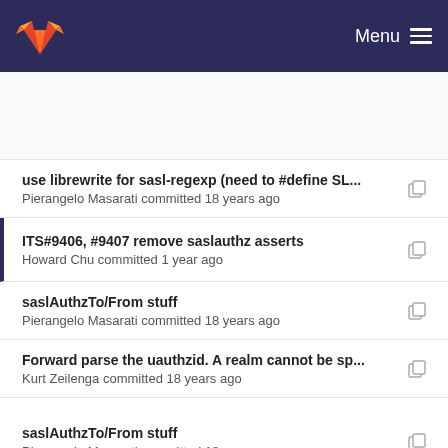Menu
use librewrite for sasl-regexp (need to #define SL... — Pierangelo Masarati committed 18 years ago
ITS#9406, #9407 remove saslauthz asserts — Howard Chu committed 1 year ago
saslAuthzTo/From stuff — Pierangelo Masarati committed 18 years ago
Forward parse the uauthzid. A realm cannot be sp... — Kurt Zeilenga committed 18 years ago
saslAuthzTo/From stuff — Pierangelo Masarati committed 18 years ago
use librewrite for sasl-regexp (need to #define SL... — Pierangelo Masarati committed 18...